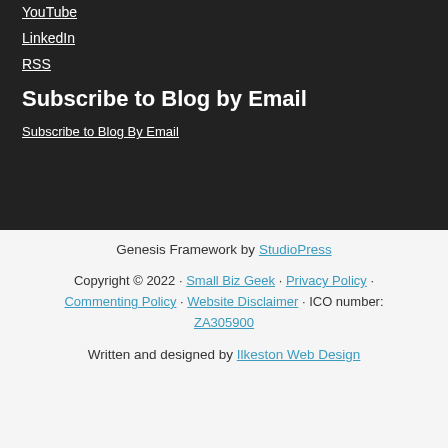YouTube
LinkedIn
RSS
Subscribe to Blog by Email
Subscribe to Blog By Email
Genesis Framework by StudioPress
Copyright © 2022 · Small Biz Geek · Privacy Policy · Commenting Policy · Website Disclaimer · ICO number: ZA305900
Written and designed by Ilkeston Web Design